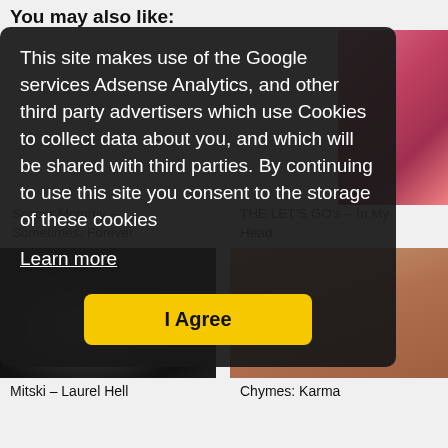You may also like:
This site makes use of the Google services Adsense Analytics, and other third party advertisers which use Cookies to collect data about you, and which will be shared with third parties. By continuing to use this site you consent to the storage of these cookies
Learn more
I Agree
[Figure (screenshot): Music album thumbnail top right - colorful cartoon/anime style image]
Soccer Mommy – Sometimes, Forever
THE LET'S GO's – In My Head
[Figure (photo): Black and white photo of a person - Mitski Laurel Hell album cover]
[Figure (photo): Color photo of a person in warm tones - Chymes Karma album cover]
Mitski – Laurel Hell
Chymes: Karma